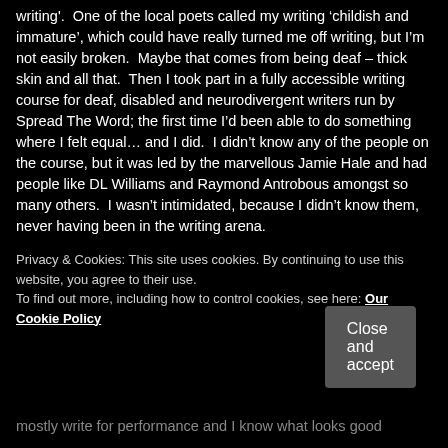writing'.  One of the local poets called my writing 'childish and immature', which could have really turned me off writing, but I'm not easily broken.  Maybe that comes from being deaf – thick skin and all that.  Then I took part in a fully accessible writing course for deaf, disabled and neurodivergent writers run by Spread The Word; the first time I'd been able to do something where I felt equal… and I did.  I didn't know any of the people on the course, but it was led by the marvellous Jamie Hale and had people like DL Williams and Raymond Antrobous amongst so many others.  I wasn't intimidated, because I didn't know them, never having been in the writing arena.
I think this is the reason I pressed the 'submit' button.
Privacy & Cookies: This site uses cookies. By continuing to use this website, you agree to their use. To find out more, including how to control cookies, see here: Our Cookie Policy
Close and accept
mostly write for performance and I know what looks good